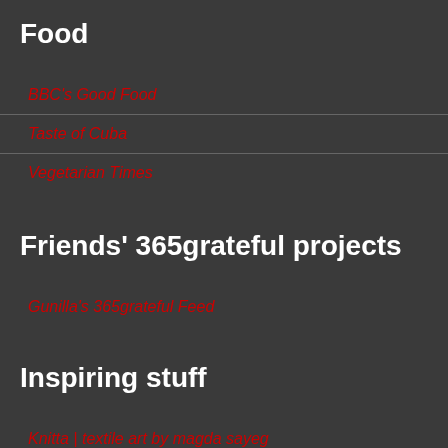Food
BBC's Good Food
Taste of Cuba
Vegetarian Times
Friends' 365grateful projects
Gunilla's 365grateful Feed
Inspiring stuff
Knitta | textile art by magda sayeg
Life Hacker
Positive Heroes